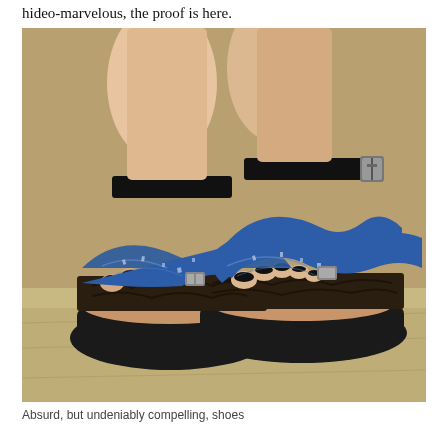hideo-marvelous, the proof is here.
[Figure (photo): Close-up photograph of a person's feet wearing unusual platform sandals with denim/sequined cross straps, a black buckle ankle strap, a tan/wooden footbed, and a chunky black platform sole. The person has dark nail polish. The shoes are resting on a stone or concrete surface.]
Absurd, but undeniably compelling, shoes